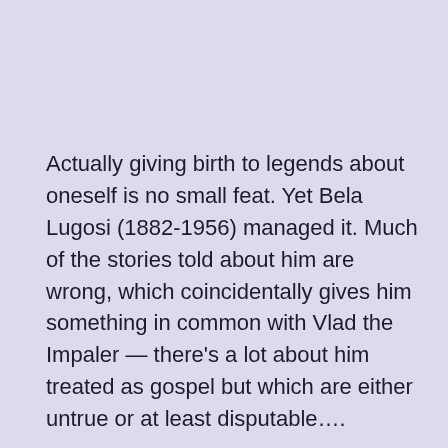Actually giving birth to legends about oneself is no small feat. Yet Bela Lugosi (1882-1956) managed it. Much of the stories told about him are wrong, which coincidentally gives him something in common with Vlad the Impaler — there's a lot about him treated as gospel but which are either untrue or at least disputable….
Continue reading